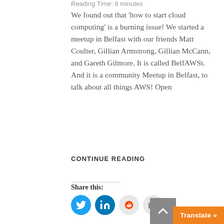Reading Time: 8 minutes
We found out that ‘how to start cloud computing’ is a burning issue! We started a meetup in Belfast with our friends Matt Coulter, Gillian Armstrong, Gillian McCann, and Gareth Gilmore. It is called BelfAWSt. And it is a community Meetup in Belfast, to talk about all things AWS! Open
CONTINUE READING
Share this:
[Figure (infographic): Social share icons: Twitter (blue circle), LinkedIn (blue circle), Reddit (light grey circle), Email (light grey circle)]
Translate »